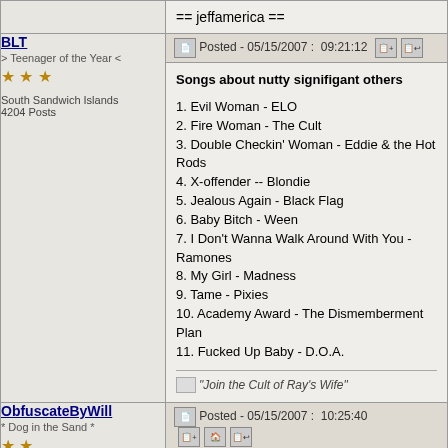== jeffamerica ==
BLT
> Teenager of the Year <
South Sandwich Islands
4204 Posts
Posted - 05/15/2007 :  09:21:12
Songs about nutty signifigant others
1. Evil Woman - ELO
2. Fire Woman - The Cult
3. Double Checkin' Woman - Eddie & the Hot Rods
4. X-offender -- Blondie
5. Jealous Again - Black Flag
6. Baby Bitch - Ween
7. I Don't Wanna Walk Around With You - Ramones
8. My Girl - Madness
9. Tame - Pixies
10. Academy Award - The Dismemberment Plan
11. Fucked Up Baby - D.O.A.
"Join the Cult of Ray's Wife"
ObfuscateByWill
* Dog in the Sand *
USA
1884 Posts
Posted - 05/15/2007 :  10:25:40
Songs about nutty signifigant others
1. Evil Woman - ELO